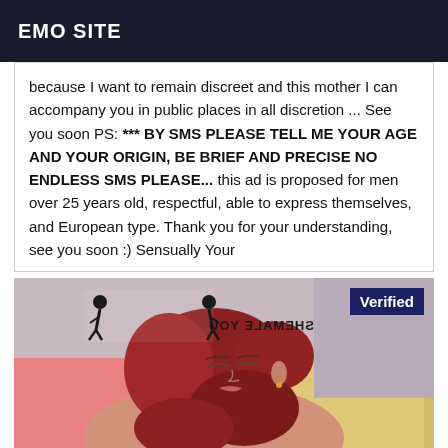EMO SITE
because I want to remain discreet and this mother I can accompany you in public places in all discretion ... See you soon PS: *** BY SMS PLEASE TELL ME YOUR AGE AND YOUR ORIGIN, BE BRIEF AND PRECISE NO ENDLESS SMS PLEASE... this ad is proposed for men over 25 years old, respectful, able to express themselves, and European type. Thank you for your understanding, see you soon :) Sensually Your
[Figure (photo): A woman with red hair lying on a pink and yellow cushioned surface, eyes closed. A watermark logo reading 'SHEMALE YOU' (mirrored) is visible in the top left. A 'Verified' badge appears in the top right corner.]